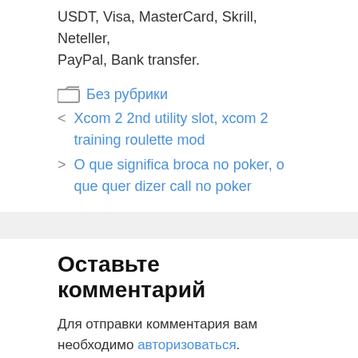USDT, Visa, MasterCard, Skrill, Neteller, PayPal, Bank transfer.
Без рубрики
< Xcom 2 2nd utility slot, xcom 2 training roulette mod
> O que significa broca no poker, o que quer dizer call no poker
Оставьте комментарий
Для отправки комментария вам необходимо авторизоваться.